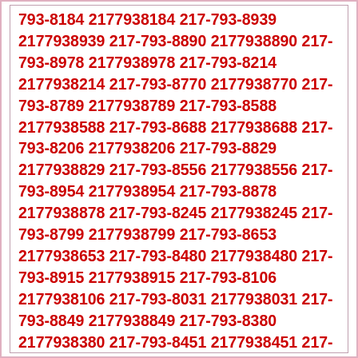793-8184 2177938184 217-793-8939 2177938939 217-793-8890 2177938890 217-793-8978 2177938978 217-793-8214 2177938214 217-793-8770 2177938770 217-793-8789 2177938789 217-793-8588 2177938588 217-793-8688 2177938688 217-793-8206 2177938206 217-793-8829 2177938829 217-793-8556 2177938556 217-793-8954 2177938954 217-793-8878 2177938878 217-793-8245 2177938245 217-793-8799 2177938799 217-793-8653 2177938653 217-793-8480 2177938480 217-793-8915 2177938915 217-793-8106 2177938106 217-793-8031 2177938031 217-793-8849 2177938849 217-793-8380 2177938380 217-793-8451 2177938451 217-793-8523 2177938523 217-793-8314 2177938314 217-793-8223 2177938223 217-793-8079 2177938079 217-793-8673 2177938673 217-793-8894 2177938894 217-793-8594 2177938594 217-793-8885 2177938885 217-793-8916 2177938916 217-793-8502 2177938502 217-793-8440